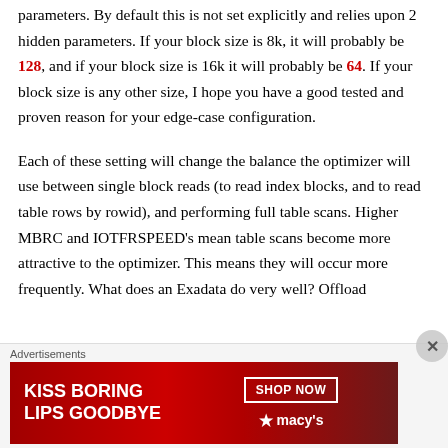parameters. By default this is not set explicitly and relies upon 2 hidden parameters. If your block size is 8k, it will probably be 128, and if your block size is 16k it will probably be 64. If your block size is any other size, I hope you have a good tested and proven reason for your edge-case configuration.
Each of these setting will change the balance the optimizer will use between single block reads (to read index blocks, and to read table rows by rowid), and performing full table scans. Higher MBRC and IOTFRSPEED's mean table scans become more attractive to the optimizer. This means they will occur more frequently. What does an Exadata do very well? Offload
[Figure (infographic): Advertisement banner showing 'KISS BORING LIPS GOODBYE' text with a woman's lips photo and 'SHOP NOW' button with Macy's star logo on red background]